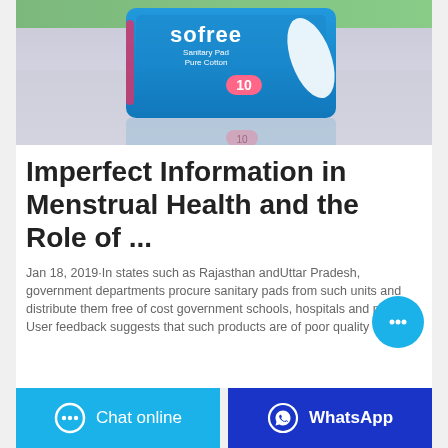[Figure (photo): Sofree Sanitary Pad Pure Cotton product package (blue box with 10 pads), shown with its reflective packaging on a light purple/grey surface.]
Imperfect Information in Menstrual Health and the Role of ...
Jan 18, 2019·In states such as Rajasthan andUttar Pradesh, government departments procure sanitary pads from such units and distribute them free of cost government schools, hospitals and prisons. User feedback suggests that such products are of poor quality